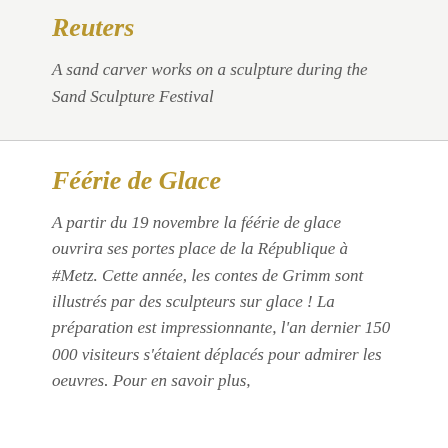Reuters
A sand carver works on a sculpture during the Sand Sculpture Festival
Féérie de Glace
A partir du 19 novembre la féérie de glace ouvrira ses portes place de la République à #Metz. Cette année, les contes de Grimm sont illustrés par des sculpteurs sur glace ! La préparation est impressionnante, l'an dernier 150 000 visiteurs s'étaient déplacés pour admirer les oeuvres. Pour en savoir plus,